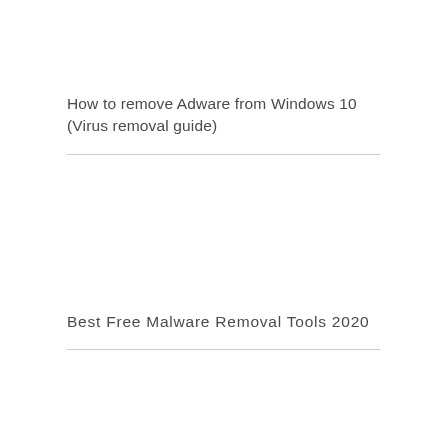How to remove Adware from Windows 10
(Virus removal guide)
Best Free Malware Removal Tools 2020